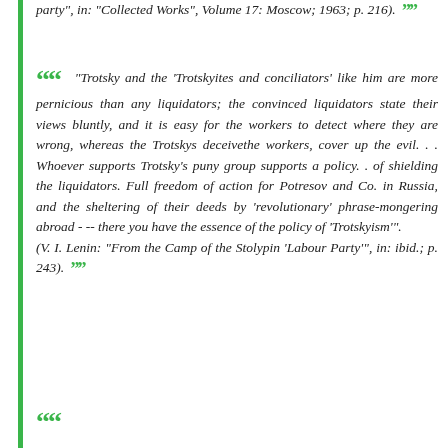party", in: "Collected Works", Volume 17: Moscow; 1963; p. 216). ””
““ "Trotsky and the 'Trotskyites and conciliators' like him are more pernicious than any liquidators; the convinced liquidators state their views bluntly, and it is easy for the workers to detect where they are wrong, whereas the Trotskys deceivethe workers, cover up the evil. . . Whoever supports Trotsky's puny group supports a policy. . of shielding the liquidators. Full freedom of action for Potresov and Co. in Russia, and the sheltering of their deeds by 'revolutionary' phrase-mongering abroad - -- there you have the essence of the policy of 'Trotskyism'". (V. I. Lenin: "From the Camp of the Stolypin 'Labour Party'", in: ibid.; p. 243). ””
““